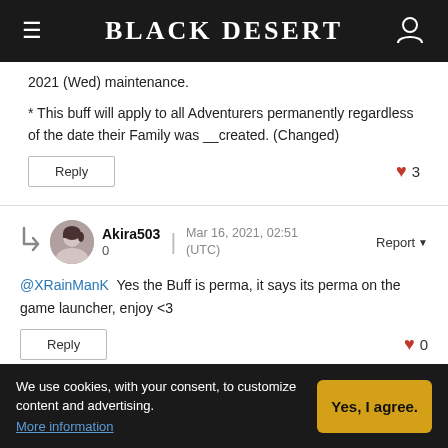Black Desert
2021 (Wed) maintenance.
* This buff will apply to all Adventurers permanently regardless of the date their Family was __created. (Changed)
Reply   ♥ 3
Akira503 0   Mar 16, 2021, 02:51 (UTC)   Report
@XRainManK Yes the Buff is perma, it says its perma on the game launcher, enjoy <3
Reply   ♥ 0
We use cookies, with your consent, to customize content and advertising. More information   Yes, I agree.